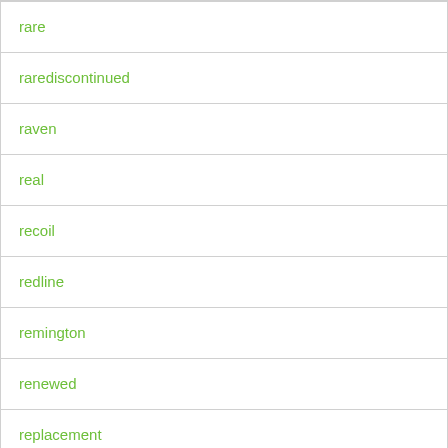rare
rarediscontinued
raven
real
recoil
redline
remington
renewed
replacement
resident
retractable
review
rieger